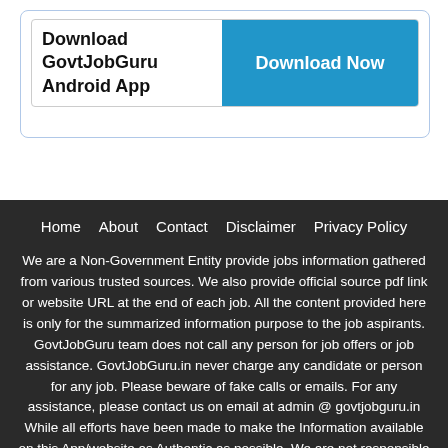[Figure (screenshot): Download GovtJobGuru Android App button with 'Download Now' blue button]
Home
About
Contact
Disclaimer
Privacy Policy
We are a Non-Government Entity provide jobs information gathered from various trusted sources. We also provide official source pdf link or website URL at the end of each job. All the content provided here is only for the summarized information purpose to the job aspirants. GovtJobGuru team does not call any person for job offers or job assistance. GovtJobGuru.in never charge any candidate or person for any job. Please beware of fake calls or emails. For any assistance, please contact us on email at admin @ govtjobguru.in While all efforts have been made to make the Information available on this App/website as Authentic as possible. We are not responsible for any loss to anybody or anything caused by any Shortcoming, Defect or Inaccuracy of the Information on this Website. Ple...